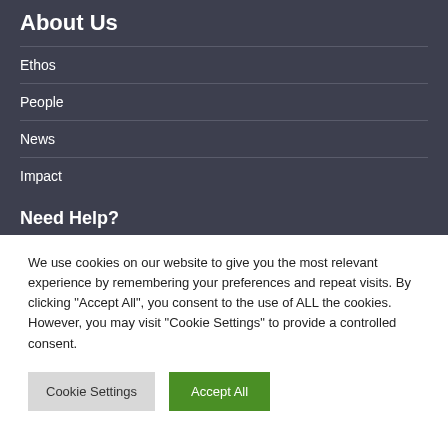About Us
Ethos
People
News
Impact
Need Help?
We use cookies on our website to give you the most relevant experience by remembering your preferences and repeat visits. By clicking “Accept All”, you consent to the use of ALL the cookies. However, you may visit "Cookie Settings" to provide a controlled consent.
Cookie Settings | Accept All